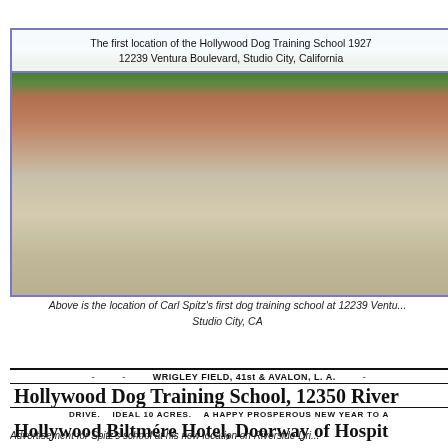[Figure (photo): Street-level photo of 12239 Ventura Boulevard, Studio City, California — the first location of the Hollywood Dog Training School (1927). Shows a commercial street with buildings, trees, parked cars, and pedestrians. An overlay caption at the top reads: 'The first location of the Hollywood Dog Training School 1927 / 12239 Ventura Boulevard, Studio City, California']
Above is the location of Carl Spitz's first dog training school at 12239 Ventura... Studio City, CA
[Figure (photo): Old newspaper advertisement clipping. Top line reads: 'WRIGLEY FIELD, 41st & AVALON, L. A.' Headline: 'Hollywood Dog Training School, 12350 River' followed by 'DRIVE. IDEAL 10 ACRES. A HAPPY PROSPEROUS NEW YEAR TO A' and partial line 'Hollywood Biltmore Hotel, Doorway of Hospit...']
Advertisement for Spitz's school at his new location on Riverside Dri...